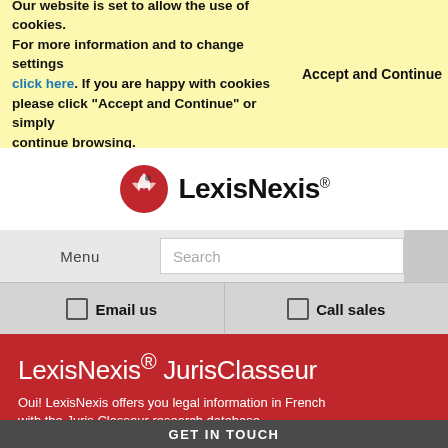Our website is set to allow the use of cookies. For more information and to change settings click here. If you are happy with cookies please click "Accept and Continue" or simply continue browsing.
Accept and Continue
[Figure (logo): LexisNexis logo with red bird icon and LexisNexis wordmark]
Menu
Search
Email us
Call sales
LexisNexis® JurisClasseur
Oui! LexisNexis offers you legal information in French with the Juris Classeur research database.
GET IN TOUCH